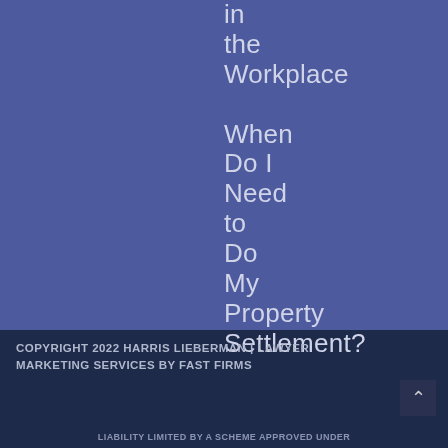in the Workplace When Do I Need to Do My Property Settlement?
COPYRIGHT 2022 HARRIS LIEBERMAN | LAWYER MARKETING SERVICES BY FAST FIRMS
LIABILITY LIMITED BY A SCHEME APPROVED UNDER